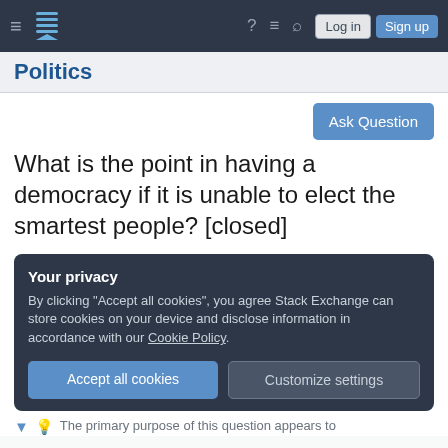Politics Stack Exchange — Navigation bar with Log in and Sign up buttons
Politics
What is the point in having a democracy if it is unable to elect the smartest people? [closed]
Your privacy
By clicking "Accept all cookies", you agree Stack Exchange can store cookies on your device and disclose information in accordance with our Cookie Policy.
The primary purpose of this question appears to